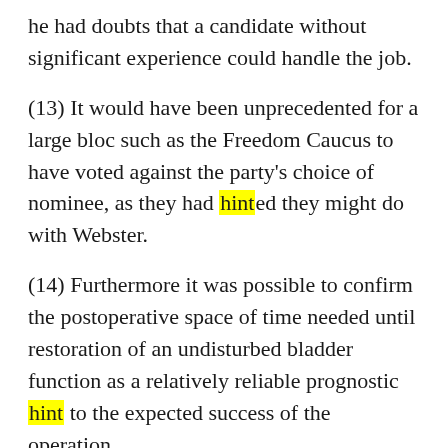he had doubts that a candidate without significant experience could handle the job.
(13) It would have been unprecedented for a large bloc such as the Freedom Caucus to have voted against the party's choice of nominee, as they had hinted they might do with Webster.
(14) Furthermore it was possible to confirm the postoperative space of time needed until restoration of an undisturbed bladder function as a relatively reliable prognostic hint to the expected success of the operation.
(15) I got a hint of the price she has paid for her ambidextrous approach to cultural identify after her last interview was published, when a shocking number of British Pakistani men got in touch to denounce her as a shameful infidel.